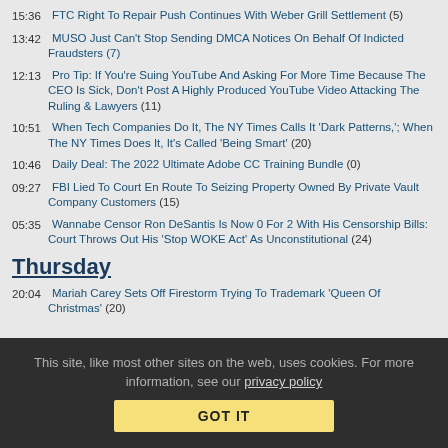15:36 FTC Right To Repair Push Continues With Weber Grill Settlement (5)
13:42 MUSO Just Can't Stop Sending DMCA Notices On Behalf Of Indicted Fraudsters (7)
12:13 Pro Tip: If You're Suing YouTube And Asking For More Time Because The CEO Is Sick, Don't Post A Highly Produced YouTube Video Attacking The Ruling & Lawyers (11)
10:51 When Tech Companies Do It, The NY Times Calls It 'Dark Patterns,'; When The NY Times Does It, It's Called 'Being Smart' (20)
10:46 Daily Deal: The 2022 Ultimate Adobe CC Training Bundle (0)
09:27 FBI Lied To Court En Route To Seizing Property Owned By Private Vault Company Customers (15)
05:35 Wannabe Censor Ron DeSantis Is Now 0 For 2 With His Censorship Bills: Court Throws Out His 'Stop WOKE Act' As Unconstitutional (24)
Thursday
20:04 Mariah Carey Sets Off Firestorm Trying To Trademark 'Queen Of Christmas' (20)
This site, like most other sites on the web, uses cookies. For more information, see our privacy policy
GOT IT